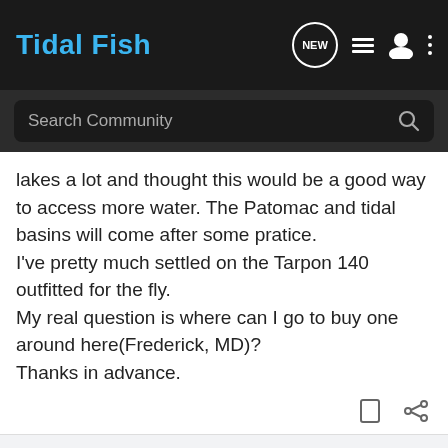Tidal Fish
lakes a lot and thought this would be a good way to access more water. The Patomac and tidal basins will come after some pratice.
I've pretty much settled on the Tarpon 140 outfitted for the fly.
My real question is where can I go to buy one around here(Frederick, MD)?
Thanks in advance.
akocan · Registered
Joined Jul 16, 2003 · 129 Posts
#2 · Dec 23, 2005